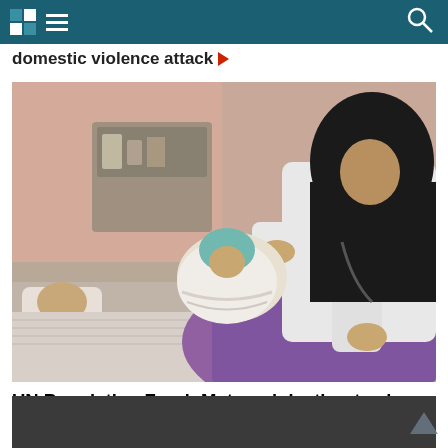domestic violence attack
[Figure (photo): A healthcare worker wearing a black hijab and white coat leans over and attends to a newborn baby wrapped in a light blue blanket, lying next to a mother on a hospital bed. Background shows a medical facility room.]
UN Population Fund: Maternal death rates in Afghanistan worse than previously thought